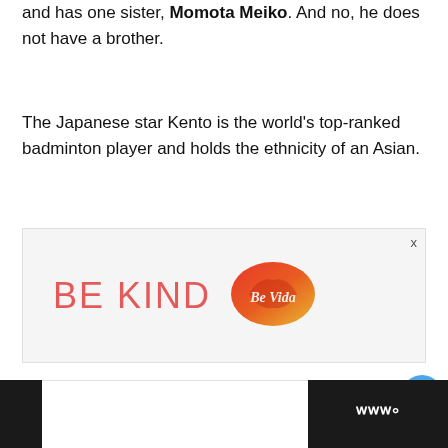and has one sister, Momota Meiko. And no, he does not have a brother.
The Japanese star Kento is the world's top-ranked badminton player and holds the ethnicity of an Asian.
[Figure (infographic): BE KIND advertisement banner with decorative floral logo in red/orange on a light gray background with a close (x) button.]
Footer bar with dark sections on left and right; right section shows stylized 'W' logo marks.